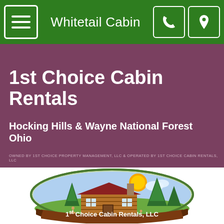Whitetail Cabin
1st Choice Cabin Rentals
Hocking Hills & Wayne National Forest Ohio
OWNED BY 1ST CHOICE PROPERTY MANAGEMENT, LLC & OPERATED BY 1ST CHOICE CABIN RENTALS, LLC
[Figure (logo): 1st Choice Cabin Rentals LLC logo — oval green border with log cabin, pine trees, sun, and deer, with a brown banner reading '1st Choice Cabin Rentals, LLC']